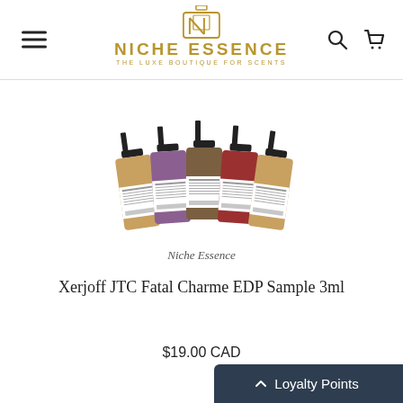NICHE ESSENCE — THE LUXE BOUTIQUE FOR SCENTS
[Figure (photo): Five small perfume spray sample bottles with black tops and white labels showing barcodes, arranged in a fan formation. A cursive 'Niche Essence' signature appears below.]
Xerjoff JTC Fatal Charme EDP Sample 3ml
$19.00 CAD
Loyalty Points